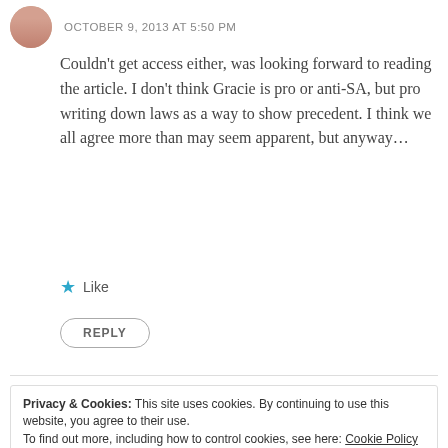OCTOBER 9, 2013 AT 5:50 PM
Couldn't get access either, was looking forward to reading the article. I don't think Gracie is pro or anti-SA, but pro writing down laws as a way to show precedent. I think we all agree more than may seem apparent, but anyway...
★ Like
REPLY
Privacy & Cookies: This site uses cookies. By continuing to use this website, you agree to their use. To find out more, including how to control cookies, see here: Cookie Policy
Close and accept